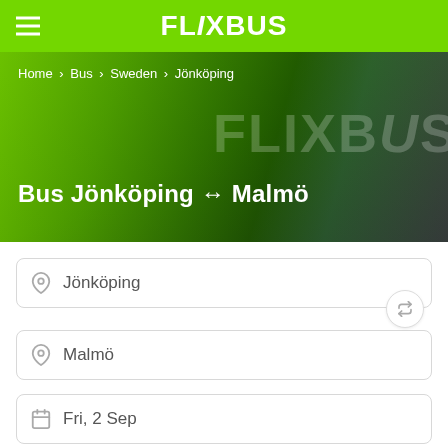FlixBus
[Figure (photo): FlixBus green bus close-up photo used as hero background image]
Home > Bus > Sweden > Jönköping
Bus Jönköping ↔ Malmö
Jönköping
Malmö
Fri, 2 Sep
1